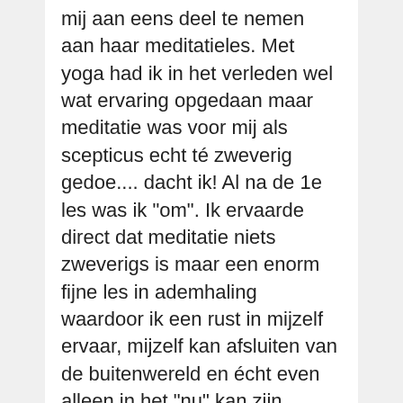mij aan eens deel te nemen aan haar meditatieles. Met yoga had ik in het verleden wel wat ervaring opgedaan maar meditatie was voor mij als scepticus echt té zweverig gedoe.... dacht ik! Al na de 1e les was ik "om". Ik ervaarde direct dat meditatie niets zweverigs is maar een enorm fijne les in ademhaling waardoor ik een rust in mijzelf ervaar, mijzelf kan afsluiten van de buitenwereld en écht even alleen in het "nu" kan zijn zonder zorgen of oordeel over iets en m.n. niet over mijzelf. De groep bestaat uit hele open, gezellige en warme leden waar je je direct in begin al in thuis voelt. De warmte als persoon en